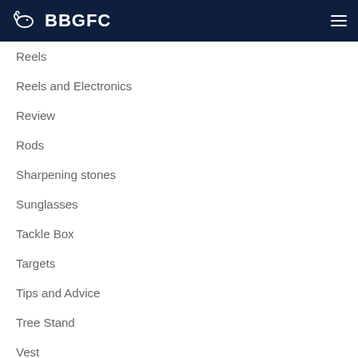BBGFC
Reels
Reels and Electronics
Review
Rods
Sharpening stones
Sunglasses
Tackle Box
Targets
Tips and Advice
Tree Stand
Vest
Waders
whisker Biscuits